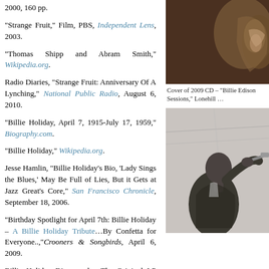2000, 160 pp.
"Strange Fruit," Film, PBS, Independent Lens, 2003.
"Thomas Shipp and Abram Smith," Wikipedia.org.
Radio Diaries, "Strange Fruit: Anniversary Of A Lynching," National Public Radio, August 6, 2010.
[Figure (photo): Close-up sepia-toned photo, partial face/ear detail]
Cover of 2009 CD – "Billie Edison Sessions," Lonehill …
"Billie Holiday, April 7, 1915-July 17, 1959," Biography.com.
"Billie Holiday," Wikipedia.org.
Jesse Hamlin, "Billie Holiday's Bio, 'Lady Sings the Blues,' May Be Full of Lies, But it Gets at Jazz Great's Core," San Francisco Chronicle, September 18, 2006.
"Birthday Spotlight for April 7th: Billie Holiday – A Billie Holiday Tribute…By Confetta for Everyone..,"Crooners & Songbirds, April 6, 2009.
Billie Holiday Discography, The Original LP Discography, BillieHolidaySongs.com.
[Figure (photo): Black and white photo of a jazz musician playing trumpet, viewed from behind/side]